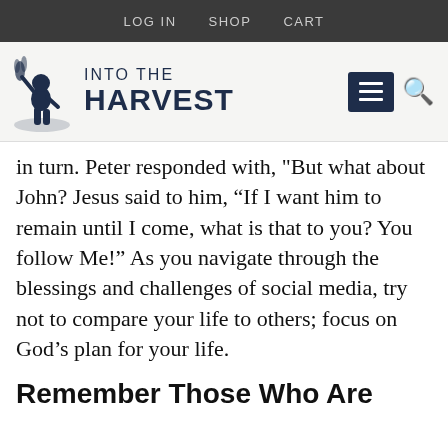LOG IN   SHOP   CART
[Figure (logo): Into The Harvest website logo with navigation menu and search icons]
in turn. Peter responded with, "But what about John? Jesus said to him, “If I want him to remain until I come, what is that to you? You follow Me!" As you navigate through the blessings and challenges of social media, try not to compare your life to others; focus on God’s plan for your life.
Remember Those Who Are